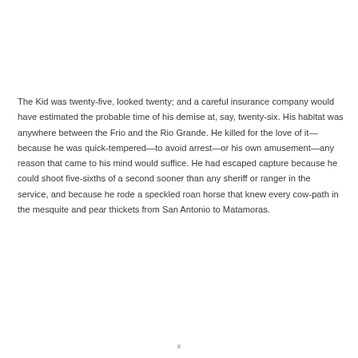The Kid was twenty-five, looked twenty; and a careful insurance company would have estimated the probable time of his demise at, say, twenty-six. His habitat was anywhere between the Frio and the Rio Grande. He killed for the love of it—because he was quick-tempered—to avoid arrest—or his own amusement—any reason that came to his mind would suffice. He had escaped capture because he could shoot five-sixths of a second sooner than any sheriff or ranger in the service, and because he rode a speckled roan horse that knew every cow-path in the mesquite and pear thickets from San Antonio to Matamoras.
x